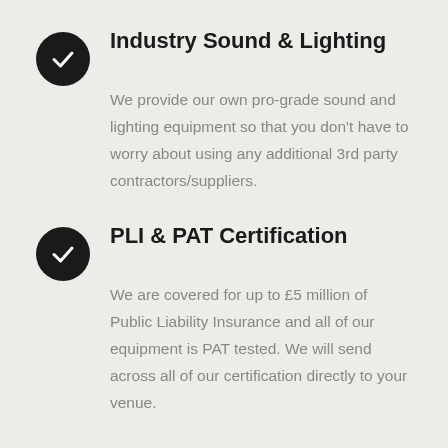Industry Sound & Lighting
We provide our own pro-grade sound and lighting equipment so that you don't have to worry about using any additional 3rd party contractors/suppliers.
PLI & PAT Certification
We are covered for up to £5 million of Public Liability Insurance and all of our equipment is PAT tested. We will send across all of our certification directly to your venue.